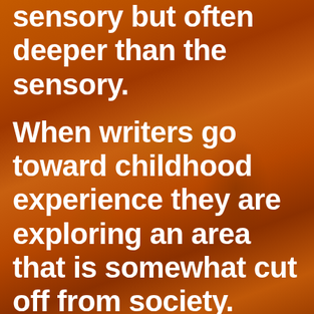[Figure (photo): Background image of ornate Indian/Mughal stone architecture with amber and orange tones, showing carved stonework and decorative elements]
sensory but often deeper than the sensory.
When writers go toward childhood experience they are exploring an area that is somewhat cut off from society. Society involves a preset kind of behaviour, based on